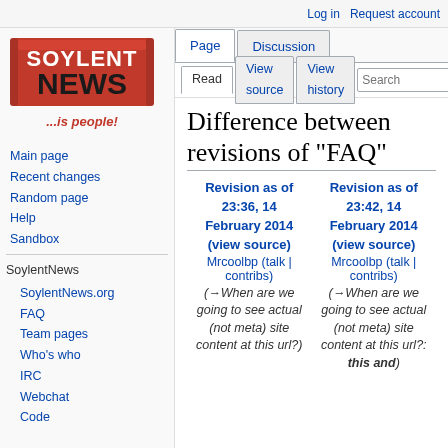Log in | Request account
[Figure (logo): Soylent News logo - red candy bar with white text 'SOYLENT NEWS' and tagline '...is people!']
Main page
Recent changes
Random page
Help
Sandbox
SoylentNews
SoylentNews.org
FAQ
Team pages
Who's who
IRC
Webchat
Code
Difference between revisions of "FAQ"
| Revision as of 23:36, 14 February 2014 (view source) | Revision as of 23:42, 14 February 2014 (view source) |
| --- | --- |
| Mrcoolbp (talk | contribs) | Mrcoolbp (talk | contribs) |
| (→When are we going to see actual (not meta) site content at this url?) | (→When are we going to see actual (not meta) site content at this url?: this and |